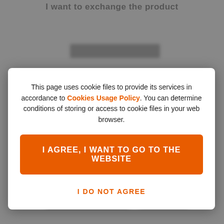[Figure (screenshot): Blurred website background showing a page with text 'I want to exchange the product' and blurred UI elements]
This page uses cookie files to provide its services in accordance to Cookies Usage Policy. You can determine conditions of storing or access to cookie files in your web browser.
I AGREE, I WANT TO GO TO THE WEBSITE
I DO NOT AGREE